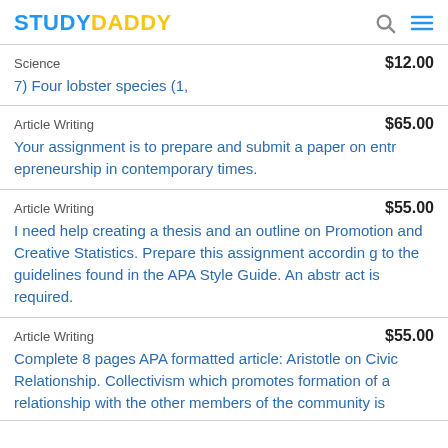STUDYDADDY
Science $12.00 — 7) Four lobster species (1,
Article Writing $65.00 — Your assignment is to prepare and submit a paper on entrepreneurship in contemporary times.
Article Writing $55.00 — I need help creating a thesis and an outline on Promotion and Creative Statistics. Prepare this assignment according to the guidelines found in the APA Style Guide. An abstract is required.
Article Writing $55.00 — Complete 8 pages APA formatted article: Aristotle on Civic Relationship. Collectivism which promotes formation of a relationship with the other members of the community is